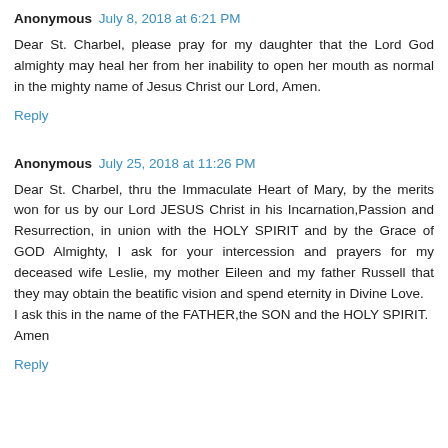Anonymous  July 8, 2018 at 6:21 PM
Dear St. Charbel, please pray for my daughter that the Lord God almighty may heal her from her inability to open her mouth as normal in the mighty name of Jesus Christ our Lord, Amen.
Reply
Anonymous  July 25, 2018 at 11:26 PM
Dear St. Charbel, thru the Immaculate Heart of Mary, by the merits won for us by our Lord JESUS Christ in his Incarnation,Passion and Resurrection, in union with the HOLY SPIRIT and by the Grace of GOD Almighty, I ask for your intercession and prayers for my deceased wife Leslie, my mother Eileen and my father Russell that they may obtain the beatific vision and spend eternity in Divine Love.
I ask this in the name of the FATHER,the SON and the HOLY SPIRIT.
Amen
Reply